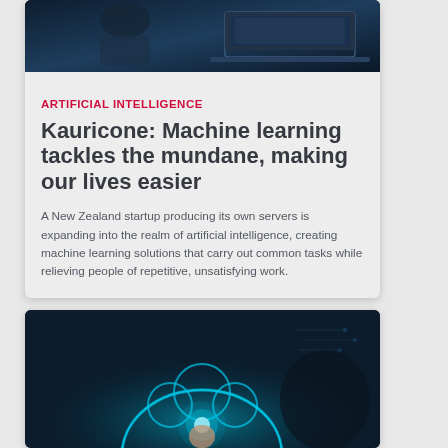[Figure (photo): Dark blue-toned photo of a laptop on a desk, top of article card]
ARTIFICIAL INTELLIGENCE
Kauricone: Machine learning tackles the mundane, making our lives easier
A New Zealand startup producing its own servers is expanding into the realm of artificial intelligence, creating machine learning solutions that carry out common tasks while relieving people of repetitive, unsatisfying work.
[Figure (photo): Dark blue technology image showing a glowing cloud and hand gesture with circuit elements, bottom article card]